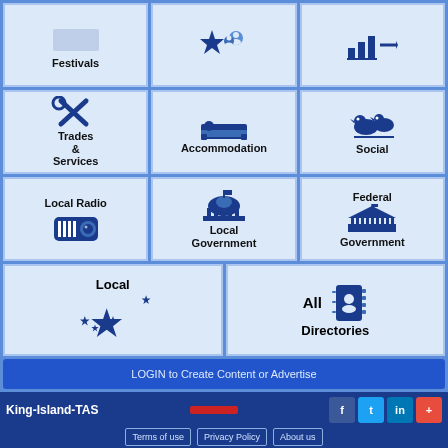[Figure (infographic): Navigation grid with category tiles: Festivals, star/people icon, bar chart icon; Trades & Services with wrench/tools icon, Accommodation with bed icon, Social with birds icon; Local Radio with radio icon, Local Government with capitol building icon, Federal Government with parliament building icon; Local with Australian stars, All Directories with contact book icon]
LOGIN to Create Content or Advertise
King-Island-TAS | Terms of use | Privacy Policy | About us | Australian Regional Network